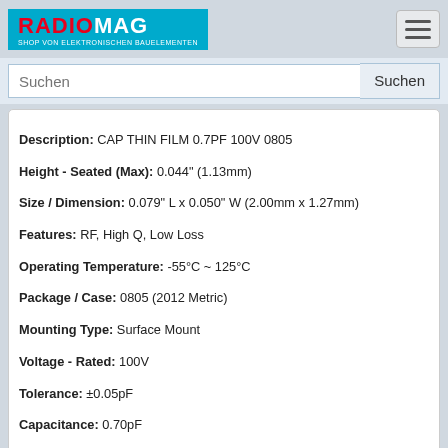RADIOMAG - SHOP VON ELEKTRONISCHEN BAUELEMENTEN
Suchen
Description: CAP THIN FILM 0.7PF 100V 0805
Height - Seated (Max): 0.044" (1.13mm)
Size / Dimension: 0.079" L x 0.050" W (2.00mm x 1.27mm)
Features: RF, High Q, Low Loss
Operating Temperature: -55°C ~ 125°C
Package / Case: 0805 (2012 Metric)
Mounting Type: Surface Mount
Voltage - Rated: 100V
Tolerance: ±0.05pF
Capacitance: 0.70pF
Produkt ist nicht verfügbar, Sie können Anfrage senden wenn Sie Produkt in den Warenkorb hinzufügen
kaufen
08051K0R8ABTTR
[Figure (illustration): PDF icon (red Adobe PDF logo)]
[Figure (photo): Product image placeholder for 08051K0R8ABTTR]
Hersteller: AVX Corporation
Description: CAP THIN FILM 0.8PF 100V 0805
Height - Seated (Max): 0.044" (1.13mm)